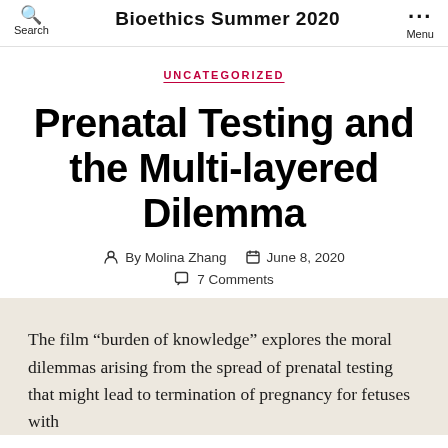Bioethics Summer 2020
UNCATEGORIZED
Prenatal Testing and the Multi-layered Dilemma
By Molina Zhang   June 8, 2020   7 Comments
The film “burden of knowledge” explores the moral dilemmas arising from the spread of prenatal testing that might lead to termination of pregnancy for fetuses with